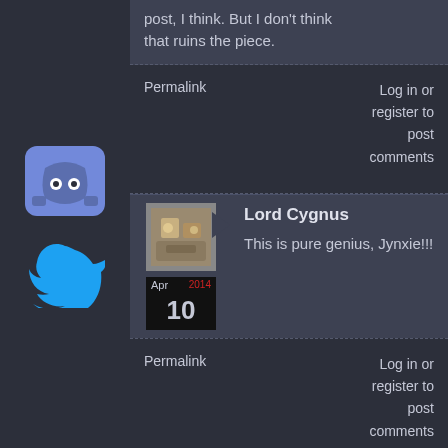post, I think. But I don't think that ruins the piece.
Permalink
Log in or register to post comments
[Figure (logo): Discord logo icon - purple speech bubble with controller icon]
[Figure (logo): Twitter bird logo in blue]
[Figure (photo): User avatar photo of Lord Cygnus - appears to be a robot or mechanical figure]
Apr 2014 10
Lord Cygnus
This is pure genius, Jynxie!!!
Permalink
Log in or register to post comments